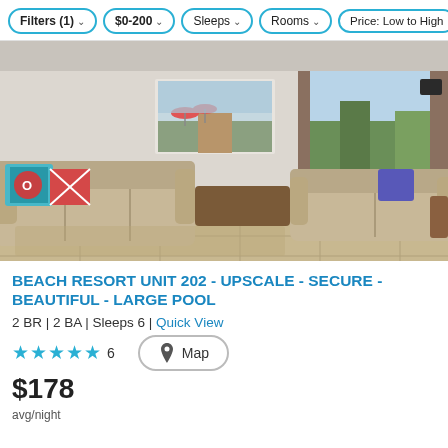Filters (1)  $0-200  Sleeps  Rooms  Price: Low to High
[Figure (photo): Interior photo of a beach resort condo living room with two beige sofas, colorful throw pillows, a lamp, tile floor, beach artwork on the wall, and sliding glass doors opening to a balcony with trees and sky visible outside.]
BEACH RESORT UNIT 202 - UPSCALE - SECURE - BEAUTIFUL - LARGE POOL
2 BR | 2 BA | Sleeps 6 | Quick View
★★★★★ 6
$178 avg/night